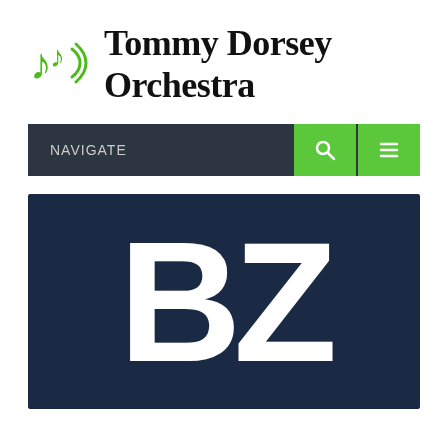[Figure (logo): Tommy Dorsey Orchestra logo with green music note icon and bold serif text title]
[Figure (screenshot): Navigation bar with dark background, NAVIGATE label, green search button and green hamburger menu button]
[Figure (logo): BZ logo on dark navy background with large bold white letters B and Z]